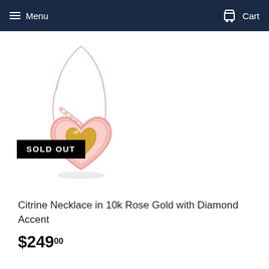Menu   Cart
[Figure (photo): Citrine heart necklace pendant on rose gold chain with diamond accent, shown with a SOLD OUT badge overlay]
Citrine Necklace in 10k Rose Gold with Diamond Accent
$249.00